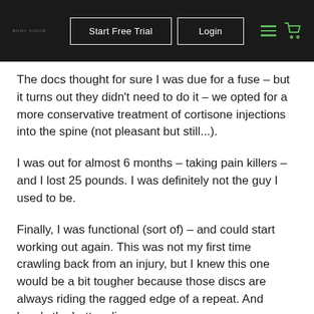Start Free Trial | Login
The docs thought for sure I was due for a fuse – but it turns out they didn't need to do it – we opted for a more conservative treatment of cortisone injections into the spine (not pleasant but still...).
I was out for almost 6 months – taking pain killers – and I lost 25 pounds. I was definitely not the guy I used to be.
Finally, I was functional (sort of) – and could start working out again. This was not my first time crawling back from an injury, but I knew this one would be a bit tougher because those discs are always riding the ragged edge of a repeat. And here's the bottom line: